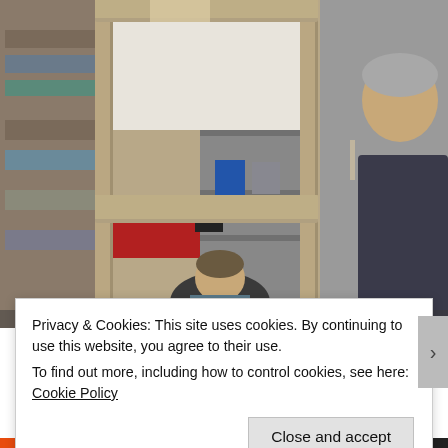[Figure (photo): Workshop photo showing two people — a woman wearing a blue apron working on something, viewed through a weathered wooden door frame, and a man with grey hair smiling in the background. Metal shelving units with supplies visible in the background. Red and white stripe on the wall.]
Privacy & Cookies: This site uses cookies. By continuing to use this website, you agree to their use.
To find out more, including how to control cookies, see here: Cookie Policy
Close and accept